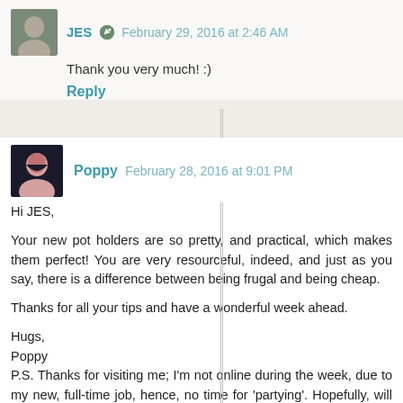JES  February 29, 2016 at 2:46 AM
Thank you very much! :)
Reply
Poppy  February 28, 2016 at 9:01 PM
Hi JES,

Your new pot holders are so pretty, and practical, which makes them perfect! You are very resourceful, indeed, and just as you say, there is a difference between being frugal and being cheap.

Thanks for all your tips and have a wonderful week ahead.

Hugs,
Poppy
P.S. Thanks for visiting me; I'm not online during the week, due to my new, full-time job, hence, no time for 'partying'. Hopefully, will be able to adapt soon, and make more time